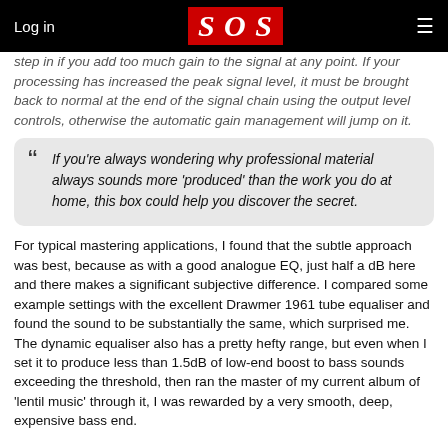Log in | SOS | ☰
step in if you add too much gain to the signal at any point. If your processing has increased the peak signal level, it must be brought back to normal at the end of the signal chain using the output level controls, otherwise the automatic gain management will jump on it.
If you're always wondering why professional material always sounds more 'produced' than the work you do at home, this box could help you discover the secret.
For typical mastering applications, I found that the subtle approach was best, because as with a good analogue EQ, just half a dB here and there makes a significant subjective difference. I compared some example settings with the excellent Drawmer 1961 tube equaliser and found the sound to be substantially the same, which surprised me. The dynamic equaliser also has a pretty hefty range, but even when I set it to produce less than 1.5dB of low-end boost to bass sounds exceeding the threshold, then ran the master of my current album of 'lentil music' through it, I was rewarded by a very smooth, deep, expensive bass end.